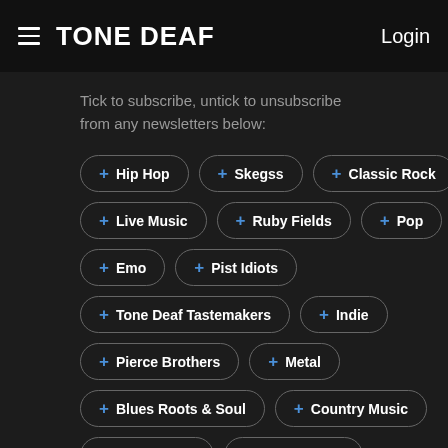TONE DEAF  Login
Tick to subscribe, untick to unsubscribe from any newsletters below:
+ Hip Hop
+ Skegss
+ Classic Rock
+ Live Music
+ Ruby Fields
+ Pop
+ Emo
+ Pist Idiots
+ Tone Deaf Tastemakers
+ Indie
+ Pierce Brothers
+ Metal
+ Blues Roots & Soul
+ Country Music
+ The Beatles
+ Foo Fighters